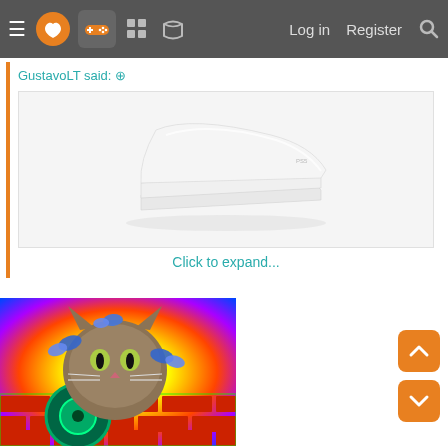≡  [logo]  [controller icon]  [grid icon]  [chat icon]    Log in   Register  [search]
GustavoLT said: ⊕
[Figure (photo): A white PlayStation 5 console (disc-less/digital edition) shown from above on a light background]
Click to expand...
[Figure (photo): A colorful meme image of a kitten with blue butterflies on its head, peeking over a red brick wall with a green disc/wheel, set against a rainbow gradient background]